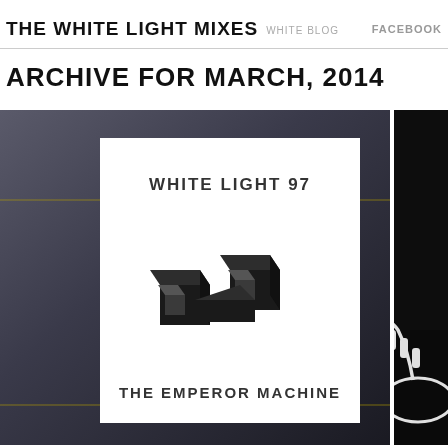THE WHITE LIGHT MIXES
WHITE BLOG
FACEBOOK
ARCHIVE FOR MARCH, 2014
[Figure (illustration): Album artwork for White Light 97 by The Emperor Machine. Dark grey/gradient background with a white inset square containing the text 'WHITE LIGHT 97' at the top, a 3D black infinity-like interlocking cube logo in the center, and 'THE EMPEROR MACHINE' at the bottom.]
[Figure (photo): Black and white photograph showing a trumpet lying on a dark surface with some equipment in the background. The text 'PARADIS' appears in white at the bottom right.]